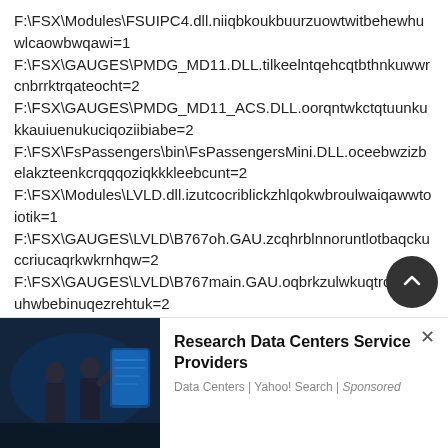F:\FSX\Modules\FSUIPC4.dll.niiqbkoukbuurzuowtwitbehewhuwlcaowbwqawi=1
F:\FSX\GAUGES\PMDG_MD11.DLL.tilkeelntqehcqtbthnkuwwrcnbrrktrqateocht=2
F:\FSX\GAUGES\PMDG_MD11_ACS.DLL.oorqntwkctqtuunkukkauiuenukuciqoziibiabe=2
F:\FSX\FsPassengers\bin\FsPassengersMini.DLL.oceebwzizbelakzteenkcrqqqoziqkkkleebcunt=2
F:\FSX\Modules\LVLD.dll.izutcocriblickzhlqokwbroulwaiqawwtoiotik=1
F:\FSX\GAUGES\LVLD\B767oh.GAU.zcqhrblnnoruntlotbaqckuccriucaqrkwkrnhqw=2
F:\FSX\GAUGES\LVLD\B767main.GAU.oqbrkzulwkuqtrccltrhkzuhwbebinuqezrehtuk=2
F:\FSX\GAUGES\LVLD\B767Afds.GAU.unrhhhkauqznrcizinntqzluokenwtzicqceklrl=2
F:\FSX\GAUGES\LVLD\B767at.GAU.wchbaoczonacczuen
[Figure (photo): Advertisement photo showing people in a dark room with blue lighting, resembling a data center or tech environment]
Research Data Centers Service Providers
Data Centers | Yahoo! Search | Sponsored